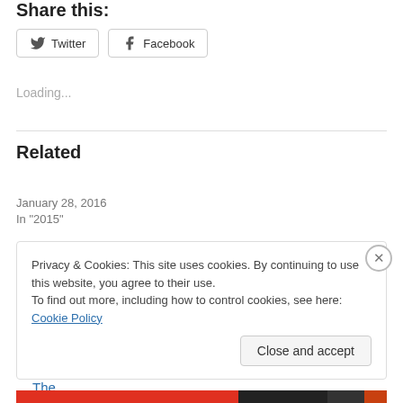Share this:
Twitter   Facebook
Loading...
Related
Anemone Tube – In The Vortex Of Dionysian Reality
January 28, 2016
In "2015"
Privacy & Cookies: This site uses cookies. By continuing to use this website, you agree to their use. To find out more, including how to control cookies, see here: Cookie Policy
Close and accept